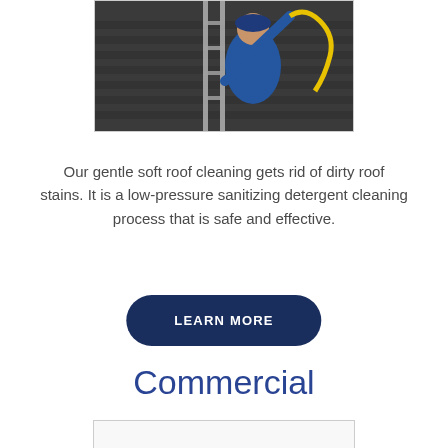[Figure (photo): A worker in a blue shirt and cap on a ladder cleaning a dark shingle roof with a yellow hose/wand]
Our gentle soft roof cleaning gets rid of dirty roof stains. It is a low-pressure sanitizing detergent cleaning process that is safe and effective.
LEARN MORE
Commercial
[Figure (photo): Partially visible image at bottom of page]